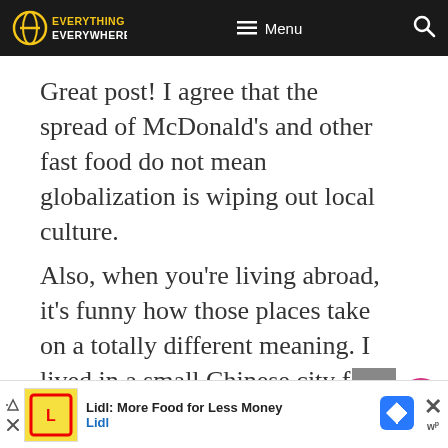Everything Everywhere | Menu
Great post! I agree that the spread of McDonald's and other fast food do not mean globalization is wiping out local culture.
Also, when you're living abroad, it's funny how those places take on a totally different meaning. I lived in a small Chinese city for a year – where there was literally nothing to
Lidl: More Food for Less Money | Lidl